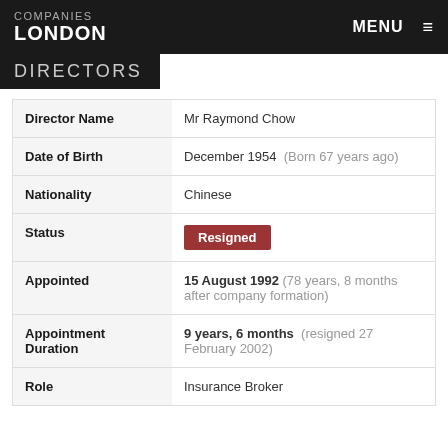COMPANIES LONDON — MENU
DIRECTORS
| Field | Value |
| --- | --- |
| Director Name | Mr Raymond Chow |
| Date of Birth | December 1954  (Born 67 years ago) |
| Nationality | Chinese |
| Status | Resigned |
| Appointed | 15 August 1992  (78 years, 8 months after company formation) |
| Appointment Duration | 9 years, 6 months  (resigned 27 February 2002) |
| Role | Insurance Broker |